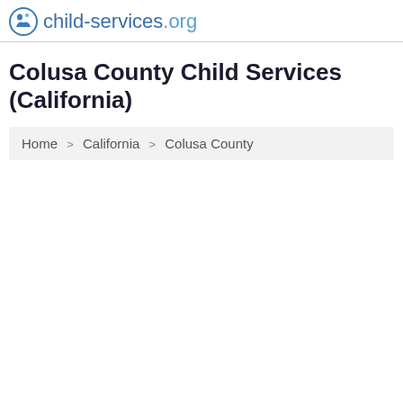child-services.org
Colusa County Child Services (California)
Home > California > Colusa County